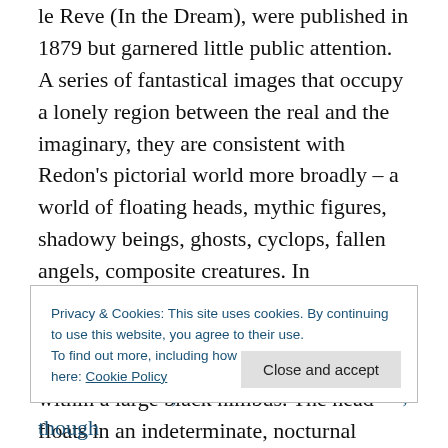le Reve (In the Dream), were published in 1879 but garnered little public attention. A series of fantastical images that occupy a lonely region between the real and the imaginary, they are consistent with Redon's pictorial world more broadly – a world of floating heads, mythic figures, shadowy beings, ghosts, cyclops, fallen angels, composite creatures. In Germination (Plate 2 of Dans le Rève, see image above), a disembodied pale head, eyes downcast in introspection, is set within a large black nimbus. The head floats in an indeterminate, nocturnal space; beneath hover (germinate?) a sequence of ever-
Privacy & Cookies: This site uses cookies. By continuing to use this website, you agree to their use.
To find out more, including how to control cookies, see here: Cookie Policy
Close and accept
to interact with, and it is not to ever since, though